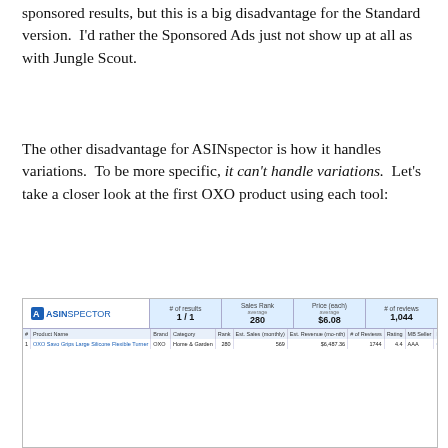sponsored results, but this is a big disadvantage for the Standard version.  I'd rather the Sponsored Ads just not show up at all as with Jungle Scout.
The other disadvantage for ASINspector is how it handles variations.  To be more specific, it can't handle variations.  Let's take a closer look at the first OXO product using each tool:
[Figure (screenshot): ASINspector tool screenshot showing search results for OXO product. Header shows logo, # of results 1/1, Sales Rank average 280, Price average $6.08, # of reviews 1,044. Table row shows: OXO Savo Grips Large Silicone Flexible Turner, OXO, Home & Garden, 280, 569, $6,487.36, 1744, 4.4, AAA, Click to see, 1]